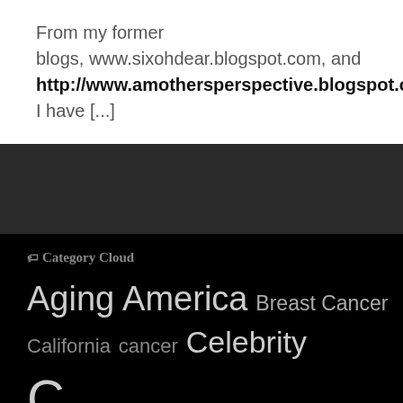From my former blogs, www.sixohdear.blogspot.com, and http://www.amothersperspective.blogspot.com, I have [...]
Category Cloud
Aging America Breast Cancer California cancer Celebrity C...